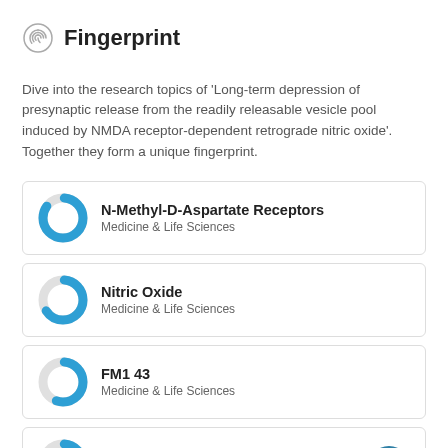Fingerprint
Dive into the research topics of 'Long-term depression of presynaptic release from the readily releasable vesicle pool induced by NMDA receptor-dependent retrograde nitric oxide'. Together they form a unique fingerprint.
N-Methyl-D-Aspartate Receptors — Medicine & Life Sciences
Nitric Oxide — Medicine & Life Sciences
FM1 43 — Medicine & Life Sciences
Cyclic GMP-Dependent Protein Kinases — Medicine & Life Sciences